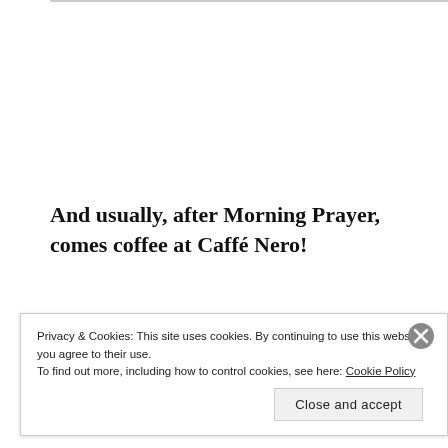And usually, after Morning Prayer, comes coffee at Caffé Nero!
[Figure (photo): Photograph of church spires and chimneys against a blue sky, with a red and black bar at the bottom.]
Privacy & Cookies: This site uses cookies. By continuing to use this website, you agree to their use.
To find out more, including how to control cookies, see here: Cookie Policy
Close and accept